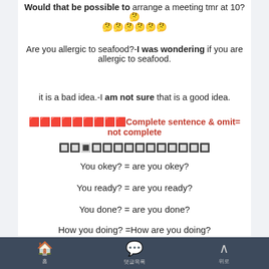Would that be possible to arrange a meeting tmr at 10?🤔 🤔🤔🤔🤔🤔🤔
Are you allergic to seafood?-I was wondering if you are allergic to seafood.
it is a bad idea.-I am not sure that is a good idea.
🔴🔴🔴🔴🔴🔴🔴🔴🔴Complete sentence & omit= not complete
🔲🔲🔳🔲🔲🔲🔲🔲🔲🔲🔲🔲🔲🔲
You okey? = are you okey?
You ready? = are you ready?
You done? = are you done?
How you doing? =How are you doing?
홈 댓글목록 위로